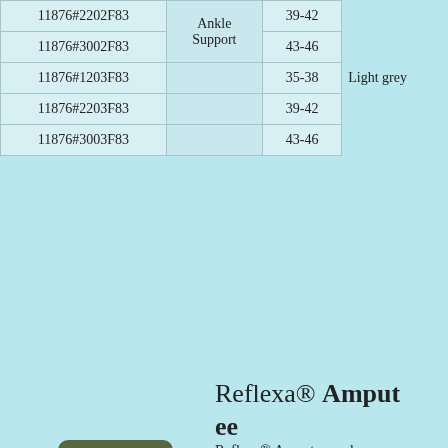| Article Number | Product | Size | Color |
| --- | --- | --- | --- |
| 11876#2202F83 | Ankle Support | 39-42 |  |
| 11876#3002F83 |  | 43-46 |  |
| 11876#1203F83 |  | 35-38 | Light grey |
| 11876#2203F83 |  | 39-42 |  |
| 11876#3003F83 |  | 43-46 |  |
Reflexa® Amputee
[Figure (photo): Product image of a dark brown/maroon compression sock with arrow patterns and an atom-like logo design on the front]
Reflexa® Amputee socks are developed specifically to provide comfortable everyday wear for people with amputated limbs. They can be worn on healed amputated limbs (and not on prosthesis).